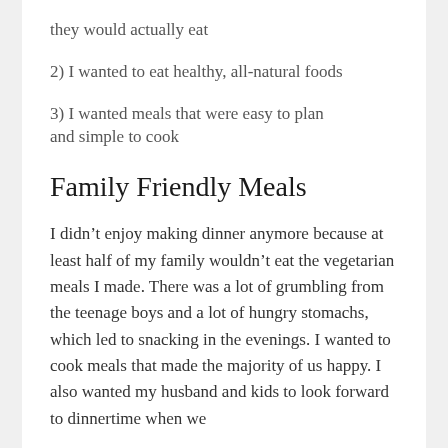they would actually eat
2) I wanted to eat healthy, all-natural foods
3) I wanted meals that were easy to plan and simple to cook
Family Friendly Meals
I didn’t enjoy making dinner anymore because at least half of my family wouldn’t eat the vegetarian meals I made. There was a lot of grumbling from the teenage boys and a lot of hungry stomachs, which led to snacking in the evenings. I wanted to cook meals that made the majority of us happy. I also wanted my husband and kids to look forward to dinnertime when we